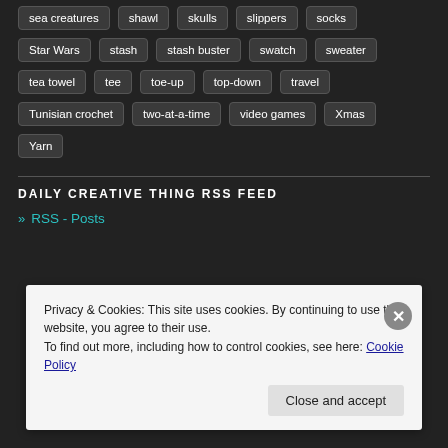sea creatures
shawl
skulls
slippers
socks
Star Wars
stash
stash buster
swatch
sweater
tea towel
tee
toe-up
top-down
travel
Tunisian crochet
two-at-a-time
video games
Xmas
Yarn
DAILY CREATIVE THING RSS FEED
» RSS - Posts
Privacy & Cookies: This site uses cookies. By continuing to use this website, you agree to their use.
To find out more, including how to control cookies, see here: Cookie Policy